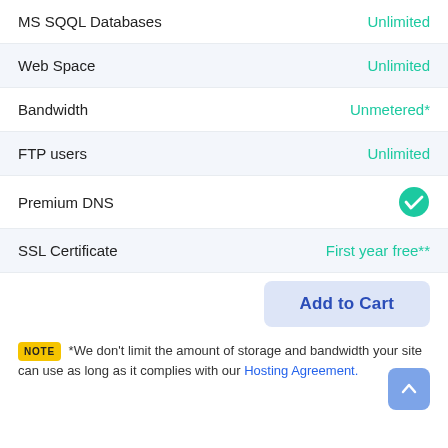| Feature | Value |
| --- | --- |
| MS SQQL Databases | Unlimited |
| Web Space | Unlimited |
| Bandwidth | Unmetered* |
| FTP users | Unlimited |
| Premium DNS | [checkmark] |
| SSL Certificate | First year free** |
Add to Cart
NOTE *We don't limit the amount of storage and bandwidth your site can use as long as it complies with our Hosting Agreement.